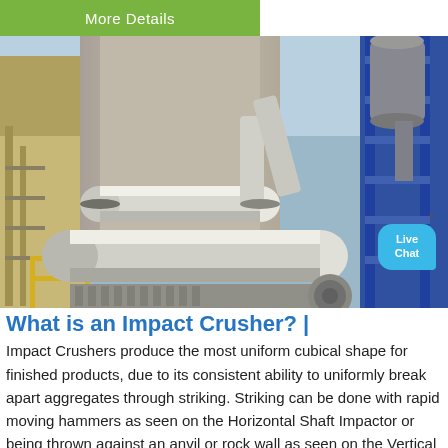More Details
[Figure (photo): Industrial impact crusher machinery at a plant facility — large horizontal rotating drums/cylinders with white insulation, pipes, scaffolding, and a blue steel structure in the background. Blue sky visible.]
What is an Impact Crusher? |
Impact Crushers produce the most uniform cubical shape for finished products, due to its consistent ability to uniformly break apart aggregates through striking. Striking can be done with rapid moving hammers as seen on the Horizontal Shaft Impactor or being thrown against an anvil or rock wall as seen on the Vertical Shaft